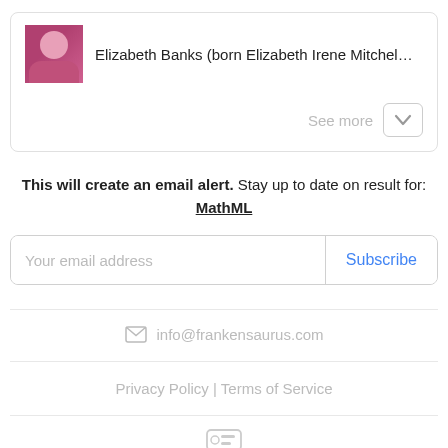[Figure (photo): Thumbnail photo of Elizabeth Banks in a pink dress]
Elizabeth Banks (born Elizabeth Irene Mitchel…
See more
This will create an email alert.  Stay up to date on result for: MathML
Your email address
Subscribe
info@frankensaurus.com
Privacy Policy | Terms of Service